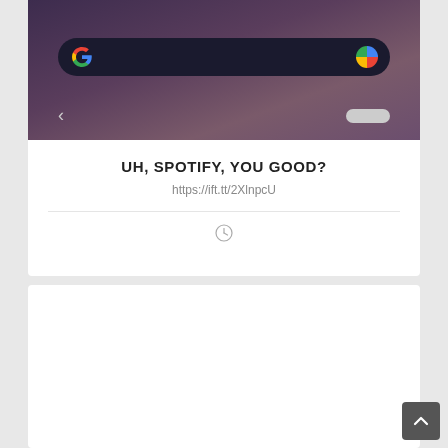[Figure (screenshot): Screenshot of an Android phone screen showing a Google search bar on a dark purple/mauve gradient background, with a back arrow and home pill navigation bar at the bottom]
UH, SPOTIFY, YOU GOOD?
https://ift.tt/2XlnpcU
[Figure (other): Clock/time icon (circle with clock hands)]
[Figure (other): Second white card area, mostly blank]